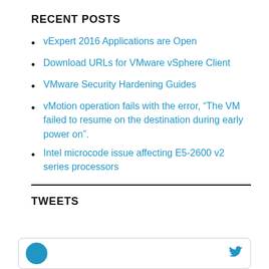RECENT POSTS
vExpert 2016 Applications are Open
Download URLs for VMware vSphere Client
VMware Security Hardening Guides
vMotion operation fails with the error, “The VM failed to resume on the destination during early power on”.
Intel microcode issue affecting E5-2600 v2 series processors
TWEETS